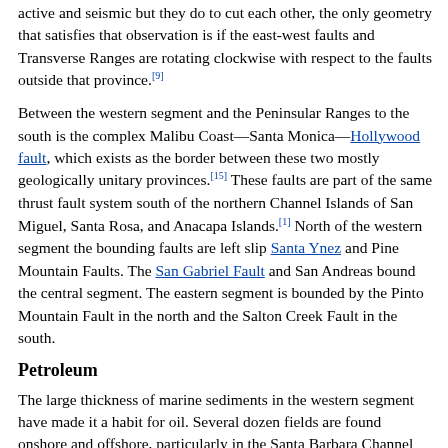active and seismic but they do to cut each other, the only geometry that satisfies that observation is if the east-west faults and Transverse Ranges are rotating clockwise with respect to the faults outside that province.[9]
Between the western segment and the Peninsular Ranges to the south is the complex Malibu Coast—Santa Monica—Hollywood fault, which exists as the border between these two mostly geologically unitary provinces.[15] These faults are part of the same thrust fault system south of the northern Channel Islands of San Miguel, Santa Rosa, and Anacapa Islands.[1] North of the western segment the bounding faults are left slip Santa Ynez and Pine Mountain Faults. The San Gabriel Fault and San Andreas bound the central segment. The eastern segment is bounded by the Pinto Mountain Fault in the north and the Salton Creek Fault in the south.
Petroleum
The large thickness of marine sediments in the western segment have made it a habit for oil. Several dozen fields are found onshore and offshore, particularly in the Santa Barbara Channel and Ventura Basin. Much oil has pooled in the Monterey Formation, which is produced onshore and offshore. In the eastern Santa